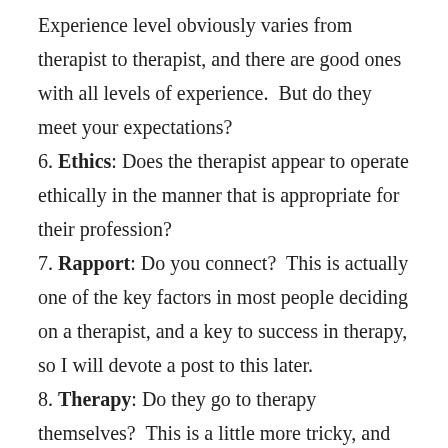Experience level obviously varies from therapist to therapist, and there are good ones with all levels of experience.  But do they meet your expectations?
6. Ethics: Does the therapist appear to operate ethically in the manner that is appropriate for their profession?
7. Rapport: Do you connect?  This is actually one of the key factors in most people deciding on a therapist, and a key to success in therapy, so I will devote a post to this later.
8. Therapy: Do they go to therapy themselves?  This is a little more tricky, and you may not want to ask your therapist this, but many people have.  I have found it to be a good rule of thumb to see a therapist who goes to therapy themselves (they may not currently be in therapy, but they attend on occasion to continue their own work which makes them a